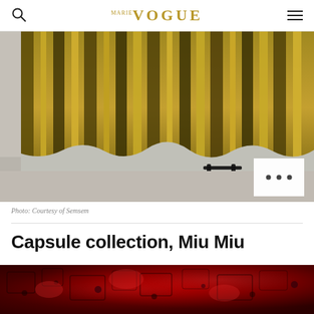VOGUE
[Figure (photo): Close-up of a gold/olive metallic pleated maxi skirt with black strappy sandals on a grey floor background, with a white box containing ellipsis (…) overlay in the lower right]
Photo: Courtesy of Semsem
Capsule collection, Miu Miu
[Figure (photo): Partial view of a deep red patterned textile or fabric with dark motifs, appearing to be a Miu Miu capsule collection item]